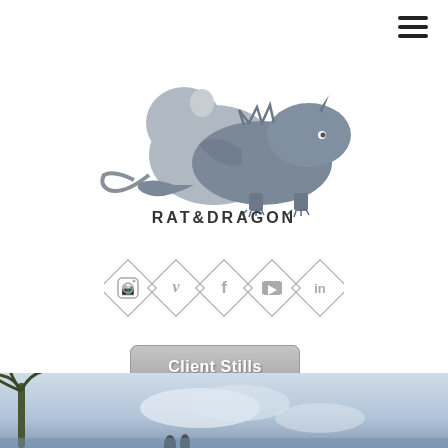[Figure (logo): Rat & Dragon logo: a rat and dragon silhouette in grey tones with text RAT&DRAGON below]
[Figure (infographic): Row of 5 diamond-shaped social media icons: Instagram, Vimeo, Facebook, YouTube, LinkedIn]
[Figure (other): Client Stills button - grey gradient pill button]
Terms of Service
team@ratandragon.com
Follow: @rat_and_dragon
(c) Rat & Dragon LTD 2020
[Figure (photo): Bottom strip showing a tropical scene with palm tree and sky]